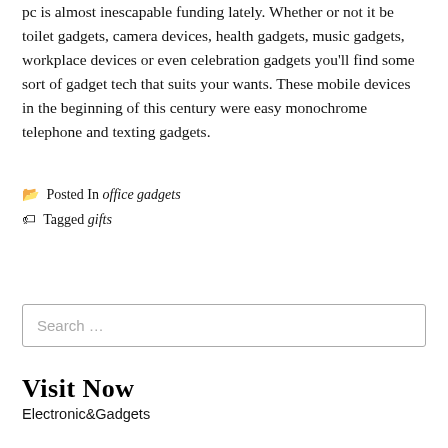pc is almost inescapable funding lately. Whether or not it be toilet gadgets, camera devices, health gadgets, music gadgets, workplace devices or even celebration gadgets you'll find some sort of gadget tech that suits your wants. These mobile devices in the beginning of this century were easy monochrome telephone and texting gadgets.
Posted In office gadgets
Tagged gifts
Search …
Visit Now
Electronic&Gadgets